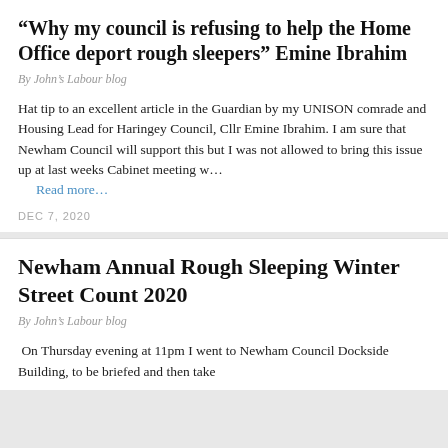“Why my council is refusing to help the Home Office deport rough sleepers” Emine Ibrahim
By John’s Labour blog
Hat tip to an excellent article in the Guardian by my UNISON comrade and Housing Lead for Haringey Council, Cllr Emine Ibrahim. I am sure that Newham Council will support this but I was not allowed to bring this issue up at last weeks Cabinet meeting w…
Read more…
DEC 7, 2020
Newham Annual Rough Sleeping Winter Street Count 2020
By John’s Labour blog
On Thursday evening at 11pm I went to Newham Council Dockside Building, to be briefed and then take